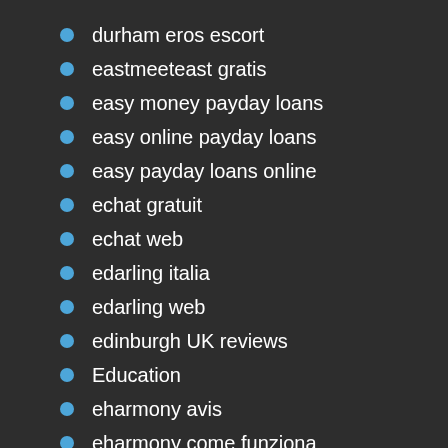durham eros escort
eastmeeteast gratis
easy money payday loans
easy online payday loans
easy payday loans online
echat gratuit
echat web
edarling italia
edarling web
edinburgh UK reviews
Education
eharmony avis
eharmony come funziona
eharmony cost service